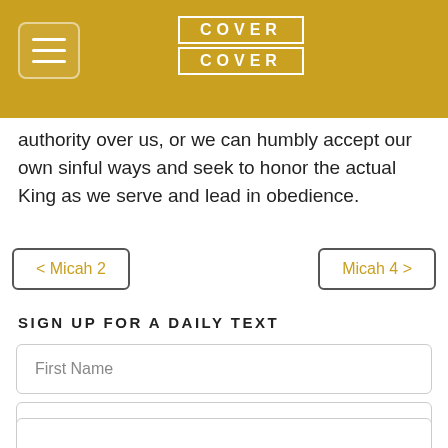COVER COVER
authority over us, or we can humbly accept our own sinful ways and seek to honor the actual King as we serve and lead in obedience.
< Micah 2    Micah 4 >
SIGN UP FOR A DAILY TEXT
First Name
Last Name
Email Address
Mobile Phone